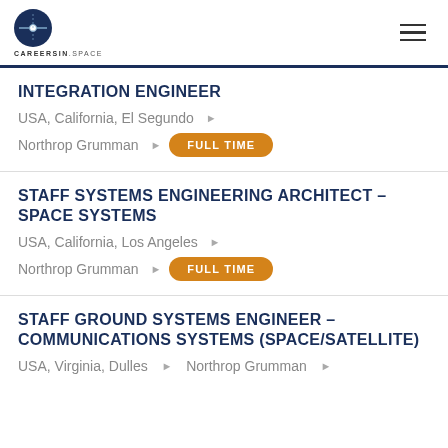CAREERSIN.SPACE
INTEGRATION ENGINEER
USA, California, El Segundo ▶
Northrop Grumman ▶  FULL TIME
STAFF SYSTEMS ENGINEERING ARCHITECT – SPACE SYSTEMS
USA, California, Los Angeles ▶
Northrop Grumman ▶  FULL TIME
STAFF GROUND SYSTEMS ENGINEER – COMMUNICATIONS SYSTEMS (SPACE/SATELLITE)
USA, Virginia, Dulles ▶ Northrop Grumman ▶